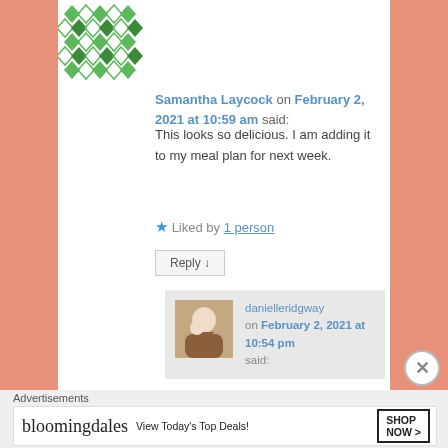[Figure (illustration): Geometric diamond/square pattern avatar in green and teal colors]
Samantha Laycock on February 2, 2021 at 10:59 am said:
This looks so delicious. I am adding it to my meal plan for next week.
★ Liked by 1 person
Reply ↓
[Figure (photo): Profile photo of danielleridgway, a woman with a child]
danielleridgway on February 2, 2021 at 10:54 pm said:
Advertisements
[Figure (other): Bloomingdales advertisement banner: bloomingdales View Today's Top Deals! SHOP NOW >]